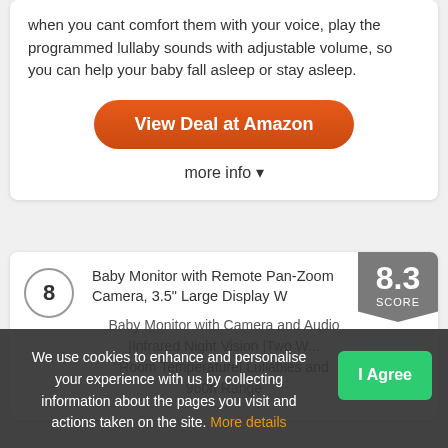when you cant comfort them with your voice, play the programmed lullaby sounds with adjustable volume, so you can help your baby fall asleep or stay asleep.
View Deal at Amazon
more info ▾
8
8.3 SCORE
Baby Monitor with Remote Pan-Zoom Camera, 3.5" Large Display W Baby Monitor with Camera and Audio |Infrared Night Vision |Two W... Room Temperature| Lullabies and 960ft Range
We use cookies to enhance and personalise your experience with us by collecting information about the pages you visit and actions taken on the site. More details
I Agree